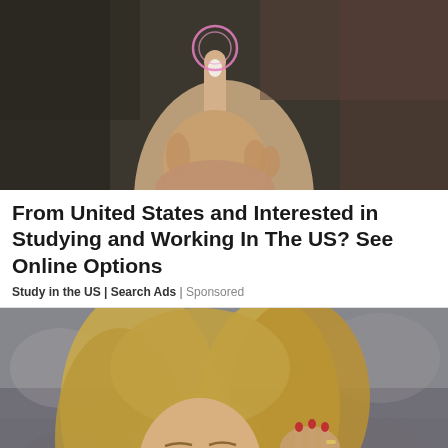[Figure (photo): Close-up photo of a woman's hand with white-tipped nails pointing upward with index finger, touching a glowing circle/button on a dark blurred background]
From United States and Interested in Studying and Working In The US? See Online Options
Study in the US | Search Ads | Sponsored
[Figure (photo): Portrait photo of a young blonde woman with blue eyes, looking at the camera with hand raised near her head, blurred outdoor background]